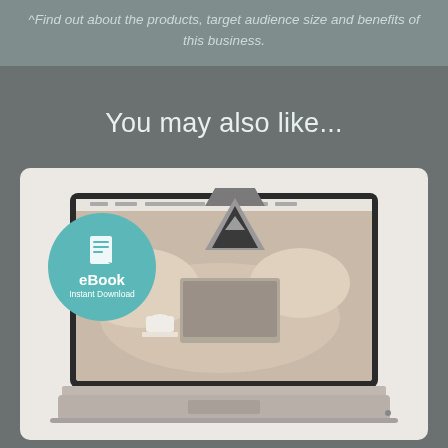^Find out about the products, target audience size and benefits of this business.
You may also like...
[Figure (screenshot): A laptop mockup showing a lifestyle blog website with a bedroom/bed background image. An eBook badge with teal circle showing a book icon, 'eBook' text, and 'Instant Download' label overlays the left side. A grey triangle logo appears above the laptop screen.]